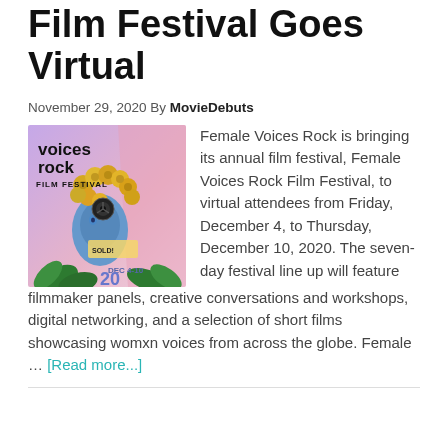Film Festival Goes Virtual
November 29, 2020 By MovieDebuts
[Figure (illustration): Female Voices Rock Film Festival poster featuring a blue female figure with gold flower hair and a film reel on her head, with pink background and tropical plants.]
Female Voices Rock is bringing its annual film festival, Female Voices Rock Film Festival, to virtual attendees from Friday, December 4, to Thursday, December 10, 2020. The seven-day festival line up will feature filmmaker panels, creative conversations and workshops, digital networking, and a selection of short films showcasing womxn voices from across the globe. Female … [Read more...]